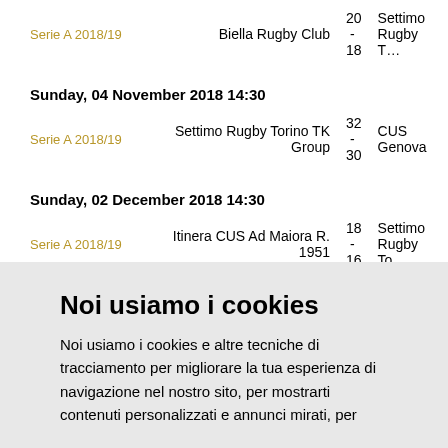Serie A 2018/19   Biella Rugby Club  20  -  18  Settimo Rugby T…
Sunday, 04 November 2018 14:30
Serie A 2018/19   Settimo Rugby Torino TK Group  32  -  30  CUS Genova
Sunday, 02 December 2018 14:30
Serie A 2018/19   Itinera CUS Ad Maiora R. 1951  18  -  16  Settimo Rugby To…
Sunday, 09 December 2018 14:30
Serie A 2018/19   Settimo Rugby Torino TK Group  10  -  15  Amatori...
Noi usiamo i cookies
Noi usiamo i cookies e altre tecniche di tracciamento per migliorare la tua esperienza di navigazione nel nostro sito, per mostrarti contenuti personalizzati e annunci mirati, per